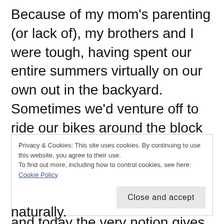Because of my mom's parenting (or lack of), my brothers and I were tough, having spent our entire summers virtually on our own out in the backyard. Sometimes we'd venture off to ride our bikes around the block or skateboard to our local five and dime to buy food (okay, mostly Mello Yello and wax lips). Sure, we were unsupervised–and today the very notion gives most parents heart
Privacy & Cookies: This site uses cookies. By continuing to use this website, you agree to their use.
To find out more, including how to control cookies, see here: Cookie Policy
naturally.